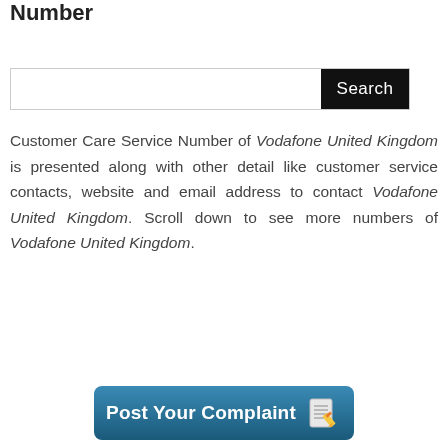Vodafone United Kingdom Customer Care Phone Number
[Figure (other): Search bar with text input field and black Search button]
Customer Care Service Number of Vodafone United Kingdom is presented along with other detail like customer service contacts, website and email address to contact Vodafone United Kingdom. Scroll down to see more numbers of Vodafone United Kingdom.
[Figure (other): Blue rounded button labeled Post Your Complaint with a notepad and pencil icon]